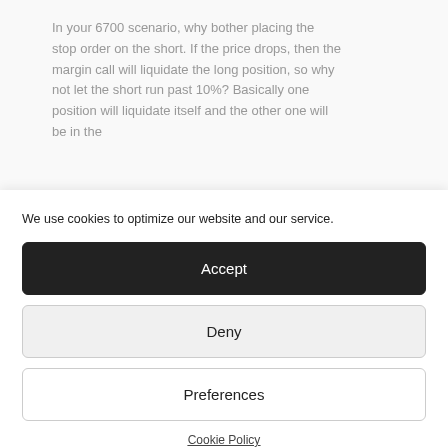In your 6700 scenario, why bother placing the stop order on the short. If the price drops, then the margin call will liquidate the long position, so why not let the short run past 10%? Basically one position will liquidate itself and the other one will be in the
We use cookies to optimize our website and our service.
Accept
Deny
Preferences
Cookie Policy